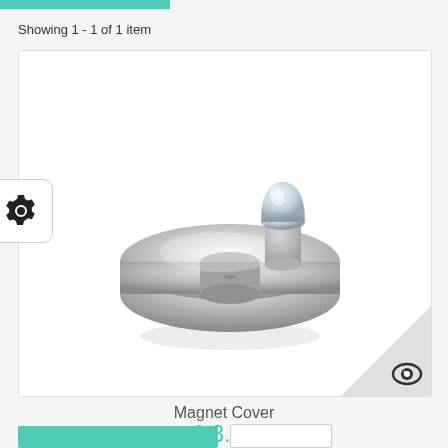Showing 1 - 1 of 1 item
[Figure (photo): Silver metallic magnet cover product photo on white background, showing a disc-shaped ring with a small cylindrical protrusion and a transparent cap on top.]
Magnet Cover
£ 3.99